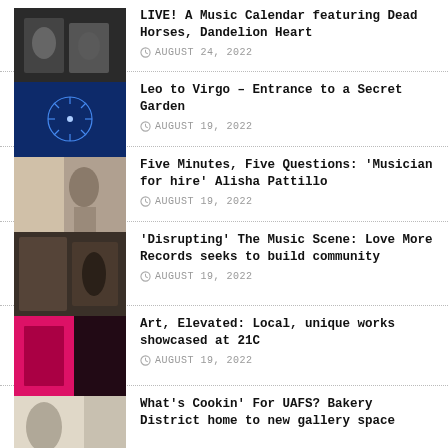LIVE! A Music Calendar featuring Dead Horses, Dandelion Heart
AUGUST 24, 2022
Leo to Virgo – Entrance to a Secret Garden
AUGUST 19, 2022
Five Minutes, Five Questions: 'Musician for hire' Alisha Pattillo
AUGUST 19, 2022
'Disrupting' The Music Scene: Love More Records seeks to build community
AUGUST 19, 2022
Art, Elevated: Local, unique works showcased at 21C
AUGUST 19, 2022
What's Cookin' For UAFS? Bakery District home to new gallery space